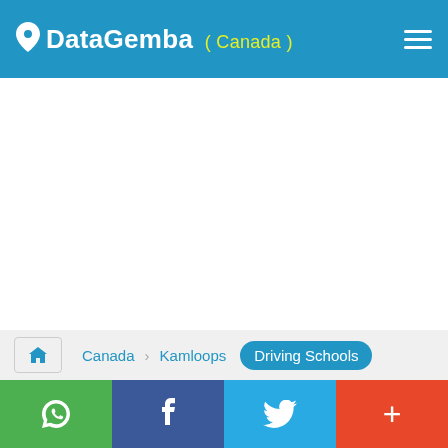DataGemba ( Canada )
Canada  Kamloops  Driving Schools
WhatsApp  Facebook  Twitter  +